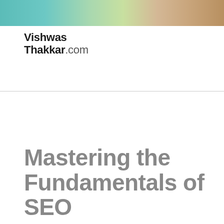[Figure (photo): Decorative header image with colorful abstract background in teal, green, tan, and brown tones]
Vishwas Thakkar.com
Mastering the Fundamentals of SEO